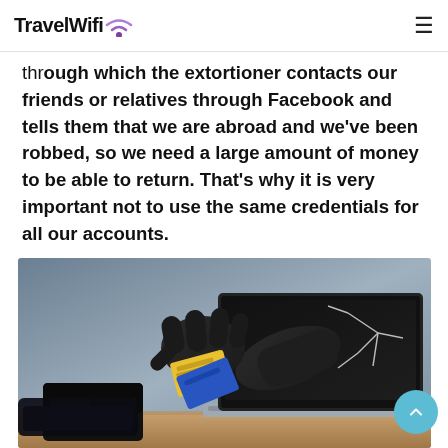TravelWifi
through which the extortioner contacts our friends or relatives through Facebook and tells them that we are abroad and we've been robbed, so we need a large amount of money to be able to return. That's why it is very important not to use the same credentials for all our accounts.
[Figure (photo): A gloved hand reaching out through a laptop screen to steal a credit card from a wallet on a desk — illustrating cybercrime and online theft.]